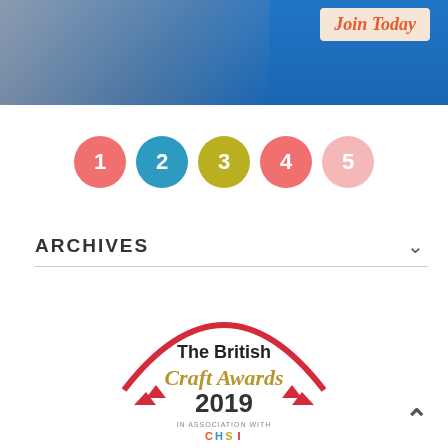[Figure (photo): Banner image showing hands on blue fabric with 'Join Today' badge in coral/orange text on a beige background, top right corner]
[Figure (infographic): Pagination circles numbered 1 through 5: circle 1 coral/salmon, circle 2 teal/blue, circle 3 olive/yellow-green, circle 4 coral/salmon, circle 5 light pink]
ARCHIVES
[Figure (logo): The British Craft Awards 2019 logo in association with CHSI — red arc, gold 'Craft Awards' text, black 'The British' text, red bunting/pennants, '2019' in dark text]